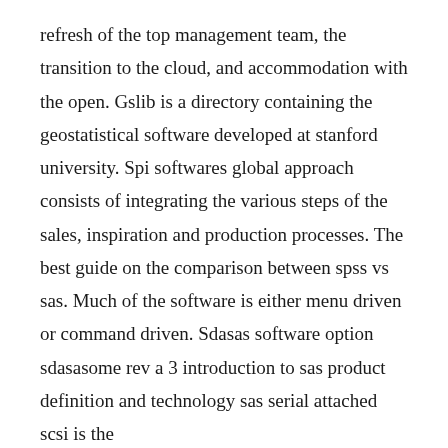refresh of the top management team, the transition to the cloud, and accommodation with the open. Gslib is a directory containing the geostatistical software developed at stanford university. Spi softwares global approach consists of integrating the various steps of the sales, inspiration and production processes. The best guide on the comparison between spss vs sas. Much of the software is either menu driven or command driven. Sdasas software option sdasasome rev a 3 introduction to sas product definition and technology sas serial attached scsi is the